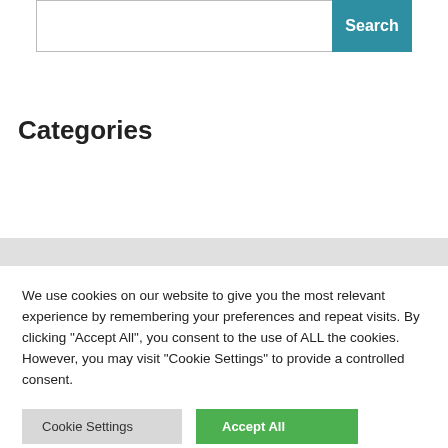[Figure (screenshot): Search input box with teal Search button on the right]
Categories
[Figure (screenshot): Select Category dropdown input field]
We use cookies on our website to give you the most relevant experience by remembering your preferences and repeat visits. By clicking "Accept All", you consent to the use of ALL the cookies. However, you may visit "Cookie Settings" to provide a controlled consent.
Cookie Settings | Accept All